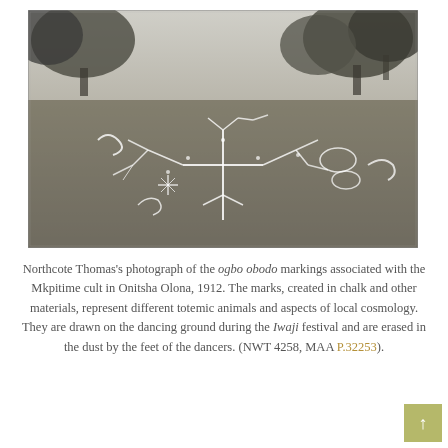[Figure (photo): Black and white photograph showing ogbo obodo ground markings on a dirt/grass surface, with trees in the background. The markings are white chalk drawings depicting totemic animals and cosmological symbols arranged across the ground.]
Northcote Thomas's photograph of the ogbo obodo markings associated with the Mkpitime cult in Onitsha Olona, 1912. The marks, created in chalk and other materials, represent different totemic animals and aspects of local cosmology. They are drawn on the dancing ground during the Iwaji festival and are erased in the dust by the feet of the dancers. (NWT 4258, MAA P.32253).